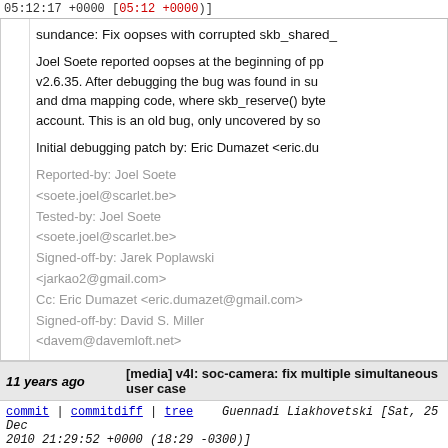05:12:17 +0000 [05:12 +0000)]
sundance: Fix oopses with corrupted skb_shared_
Joel Soete reported oopses at the beginning of pp v2.6.35. After debugging the bug was found in su and dma mapping code, where skb_reserve() byte account. This is an old bug, only uncovered by so
Initial debugging patch by: Eric Dumazet <eric.du
Reported-by: Joel Soete <soete.joel@scarlet.be> Tested-by: Joel Soete <soete.joel@scarlet.be> Signed-off-by: Jarek Poplawski <jarkao2@gmail.com> Cc: Eric Dumazet <eric.dumazet@gmail.com> Signed-off-by: David S. Miller <davem@davemloft.net>
11 years ago  [media] v4l: soc-camera: fix multiple simultaneous user case
commit | commitdiff | tree  Guennadi Liakhovetski [Sat, 25 Dec 2010 21:29:52 +0000 (18:29 -0300)]
[media] v4l: soc-camera: fix multiple simultaneous user case
A recent patch has introduced a regression, where